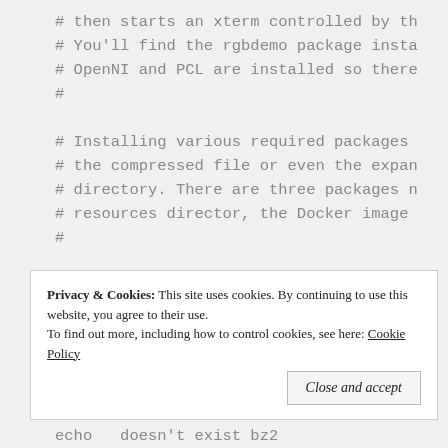# then starts an xterm controlled by th
# You'll find the rgbdemo package insta
# OpenNI and PCL are installed so there
#

# Installing various required packages 
# the compressed file or even the expan
# directory. There are three packages n
# resources director, the Docker image 
#

HERE=`pwd`
Privacy & Cookies: This site uses cookies. By continuing to use this website, you agree to their use.
To find out more, including how to control cookies, see here: Cookie Policy
Close and accept
echo   doesn't exist bz2